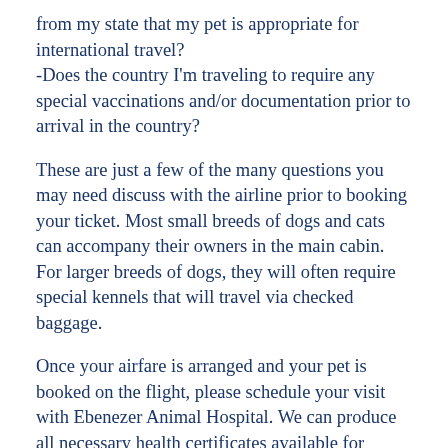from my state that my pet is appropriate for international travel? -Does the country I'm traveling to require any special vaccinations and/or documentation prior to arrival in the country?
These are just a few of the many questions you may need discuss with the airline prior to booking your ticket. Most small breeds of dogs and cats can accompany their owners in the main cabin. For larger breeds of dogs, they will often require special kennels that will travel via checked baggage.
Once your airfare is arranged and your pet is booked on the flight, please schedule your visit with Ebenezer Animal Hospital. We can produce all necessary health certificates available for domestic and international travel. Please plan ahead prior to arriving to our clinic